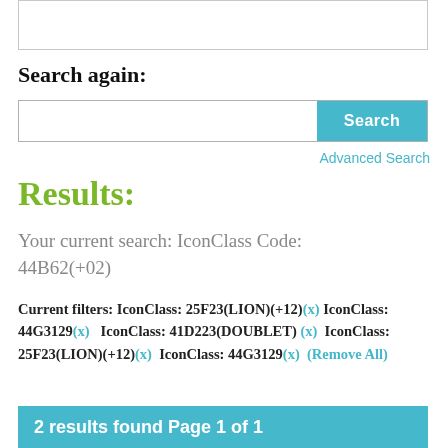[Figure (screenshot): Top partial box/frame from previous content, shown cut off at top of page]
Search again:
[Figure (screenshot): Search input box with a cyan/teal Search button on the right]
Advanced Search
Results:
Your current search: IconClass Code: 44B62(+02)
Current filters: IconClass: 25F23(LION)(+12)(x) IconClass: 44G3129(x)   IconClass: 41D223(DOUBLET)(x)   IconClass: 25F23(LION)(+12)(x)   IconClass: 44G3129(x)   (Remove All)
2 results found Page 1 of 1